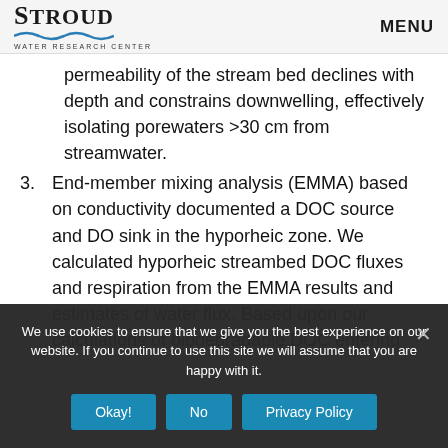Stroud Water Research Center | MENU
permeability of the stream bed declines with depth and constrains downwelling, effectively isolating porewaters >30 cm from streamwater.
3. End-member mixing analysis (EMMA) based on conductivity documented a DOC source and DO sink in the hyporheic zone. We calculated hyporheic streambed DOC fluxes and respiration from the EMMA results and estimates of water flux. Based upon our calculations of biodegradable DOC entering
We use cookies to ensure that we give you the best experience on our website. If you continue to use this site we will assume that you are happy with it.